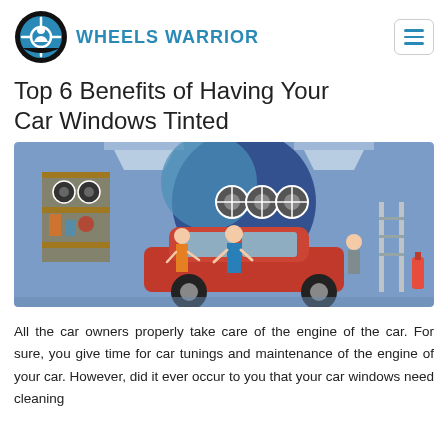WHEELS WARRIOR
Top 6 Benefits of Having Your Car Windows Tinted
[Figure (illustration): Cartoon illustration of a car garage scene with mechanics working on a red car, tire shelves, and equipment in a blue-toned background with a large dark blue circle.]
All the car owners properly take care of the engine of the car. For sure, you give time for car tunings and maintenance of the engine of your car. However, did it ever occur to you that your car windows need cleaning